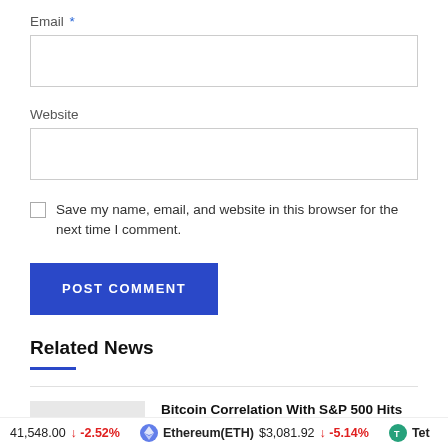Email *
Website
Save my name, email, and website in this browser for the next time I comment.
POST COMMENT
Related News
Bitcoin Correlation With S&P 500 Hits ATH
2022-02-24
41,548.00 ↓ -2.52% Ethereum(ETH) $3,081.92 ↓ -5.14% Tet